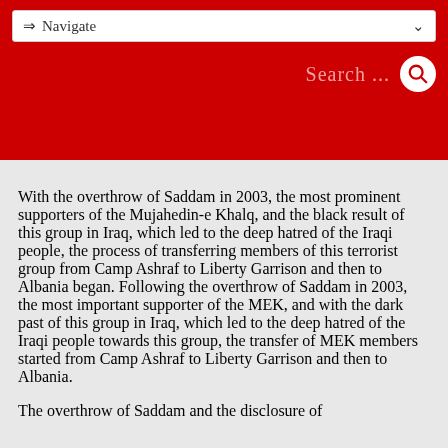⇒ Navigate   Search ...
With the overthrow of Saddam in 2003, the most prominent supporters of the Mujahedin-e Khalq, and the black result of this group in Iraq, which led to the deep hatred of the Iraqi people, the process of transferring members of this terrorist group from Camp Ashraf to Liberty Garrison and then to Albania began. Following the overthrow of Saddam in 2003, the most important supporter of the MEK, and with the dark past of this group in Iraq, which led to the deep hatred of the Iraqi people towards this group, the transfer of MEK members started from Camp Ashraf to Liberty Garrison and then to Albania.
The overthrow of Saddam and the disclosure of